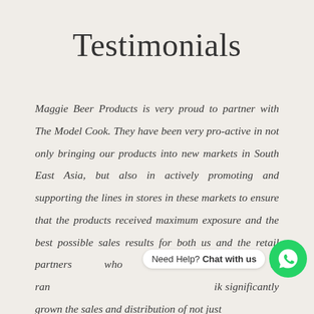Testimonials
Maggie Beer Products is very proud to partner with The Model Cook. They have been very pro-active in not only bringing our products into new markets in South East Asia, but also in actively promoting and supporting the lines in stores in these markets to ensure that the products received maximum exposure and the best possible sales results for both us and the retail partners who have chosen to ran... significantly grown the sales and distribution of not just